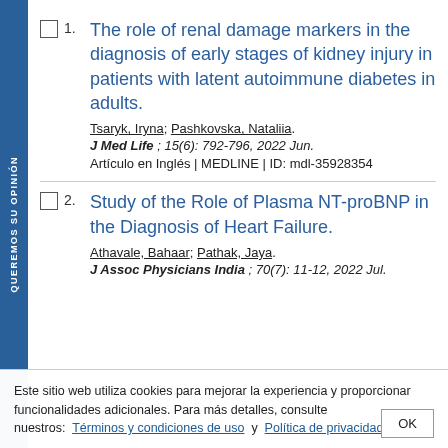1. The role of renal damage markers in the diagnosis of early stages of kidney injury in patients with latent autoimmune diabetes in adults. Tsaryk, Iryna; Pashkovska, Nataliia. J Med Life ; 15(6): 792-796, 2022 Jun. Artículo en Inglés | MEDLINE | ID: mdl-35928354
2. Study of the Role of Plasma NT-proBNP in the Diagnosis of Heart Failure. Athavale, Bahaar; Pathak, Jaya. J Assoc Physicians India ; 70(7): 11-12, 2022 Jul.
Este sitio web utiliza cookies para mejorar la experiencia y proporcionar funcionalidades adicionales. Para más detalles, consulte nuestros: Términos y condiciones de uso y Política de privacidad